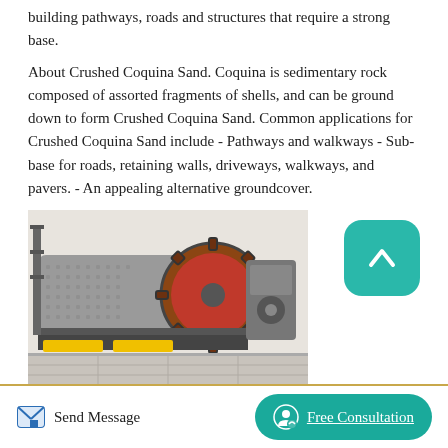building pathways, roads and structures that require a strong base.
About Crushed Coquina Sand. Coquina is sedimentary rock composed of assorted fragments of shells, and can be ground down to form Crushed Coquina Sand. Common applications for Crushed Coquina Sand include - Pathways and walkways - Sub-base for roads, retaining walls, driveways, walkways, and pavers. - An appealing alternative groundcover.
[Figure (photo): Industrial stone crusher machine with large gear wheel on the side, mounted on a metal frame on a concrete surface.]
Stone Crusher Manufacturers & Suppliers Made In
Send Message  |  Free Consultation